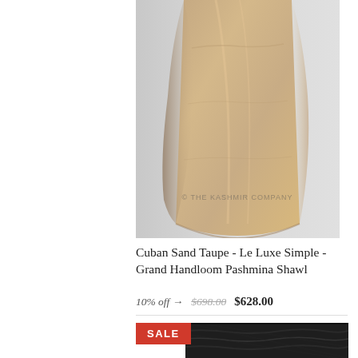[Figure (photo): A taupe/sand colored fabric shawl draped against a light grey background, showing the flowing folds of the pashmina material. Watermark text reads '© THE KASHMIR COMPANY']
Cuban Sand Taupe - Le Luxe Simple - Grand Handloom Pashmina Shawl
10% off → $698.00 $628.00
[Figure (photo): A dark charcoal/black textured fabric shawl with a SALE badge overlay in red]